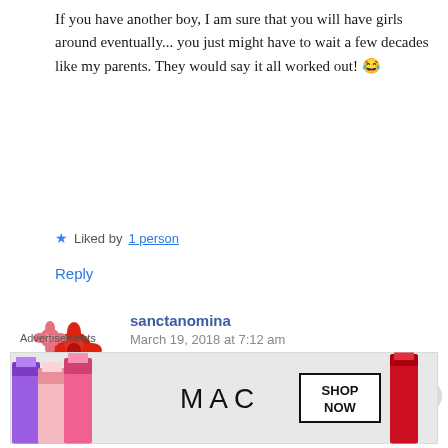If you have another boy, I am sure that you will have girls around eventually... you just might have to wait a few decades like my parents. They would say it all worked out! 😂
Liked by 1 person
Reply
sanctanomina
March 19, 2018 at 7:12 am
Haha I love this!! I'll be delighted
[Figure (photo): Floral bouquet avatar image for commenter sanctanomina]
[Figure (photo): MAC cosmetics advertisement banner showing lipsticks with SHOP NOW button]
Advertisements